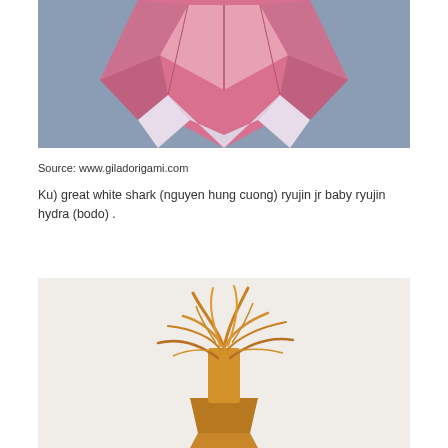[Figure (photo): Origami pink shark head viewed from above, folded from pink paper with white underside, on a gray background]
Source: www.giladorigami.com
Ku) great white shark (nguyen hung cuong) ryujin jr baby ryujin hydra (bodo) .
[Figure (photo): Origami golden/yellow dragon figure standing upright, intricately folded, on a white background]